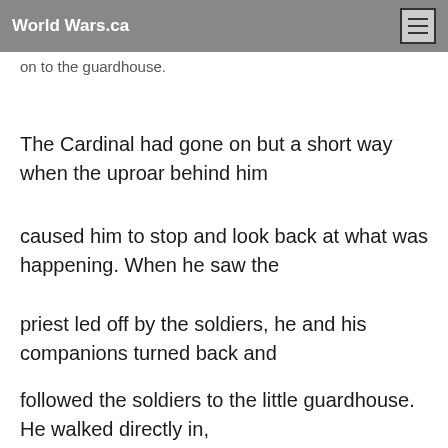World Wars.ca
on to the guardhouse.
The Cardinal had gone on but a short way when the uproar behind him
caused him to stop and look back at what was happening. When he saw the
priest led off by the soldiers, he and his companions turned back and
followed the soldiers to the little guardhouse. He walked directly in,
looking neither to the right nor the left, standing a head above the